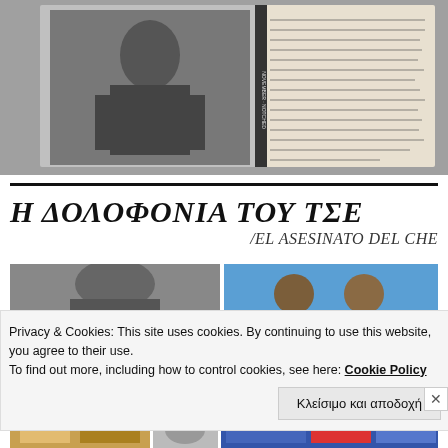[Figure (photo): Black and white photograph of an open notebook/diary with handwritten text, with a person visible in the left portion of the image]
Η ΔΟΛΟΦΟΝΙΑ ΤΟΥ ΤΣΕ /EL ASESINATO DEL CHE
[Figure (photo): Two black and white/color photographs side by side below the title]
Privacy & Cookies: This site uses cookies. By continuing to use this website, you agree to their use.
To find out more, including how to control cookies, see here: Cookie Policy
Κλείσιμο και αποδοχή
[Figure (photo): Bottom row of photographs partially visible]